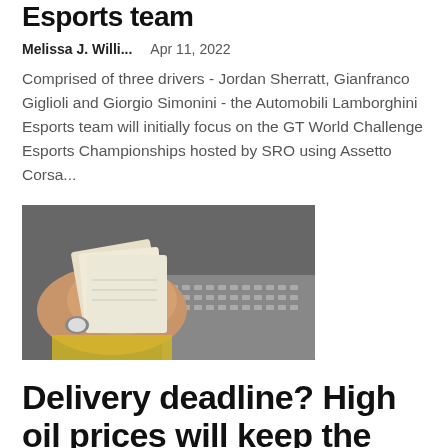Esports team
Melissa J. Willi...    Apr 11, 2022
Comprised of three drivers - Jordan Sherratt, Gianfranco Giglioli and Giorgio Simonini - the Automobili Lamborghini Esports team will initially focus on the GT World Challenge Esports Championships hosted by SRO using Assetto Corsa...
[Figure (photo): Hands counting Indian rupee currency notes over a keyboard and desk surface]
Delivery deadline? High oil prices will keep the Indian rupee on a slippery slope